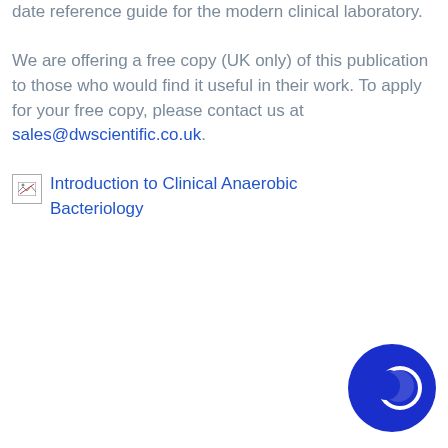date reference guide for the modern clinical laboratory. We are offering a free copy (UK only) of this publication to those who would find it useful in their work. To apply for your free copy, please contact us at sales@dwscientific.co.uk.
[Figure (illustration): Broken image placeholder with alt text 'Introduction to Clinical Anaerobic Bacteriology' shown in blue link color]
[Figure (logo): Dark blue circle logo with a white circular element inside, positioned at bottom right]